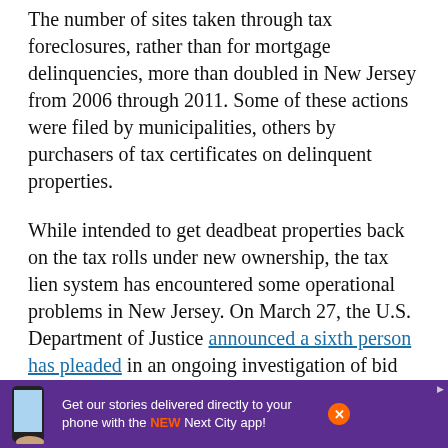The number of sites taken through tax foreclosures, rather than for mortgage delinquencies, more than doubled in New Jersey from 2006 through 2011. Some of these actions were filed by municipalities, others by purchasers of tax certificates on delinquent properties.
While intended to get deadbeat properties back on the tax rolls under new ownership, the tax lien system has encountered some operational problems in New Jersey. On March 27, the U.S. Department of Justice announced a sixth person has pleaded in an ongoing investigation of bid rigging of tax foreclosure sales in the state.
“We need more robust foreclosure protections in place, [source], a small [text continues]